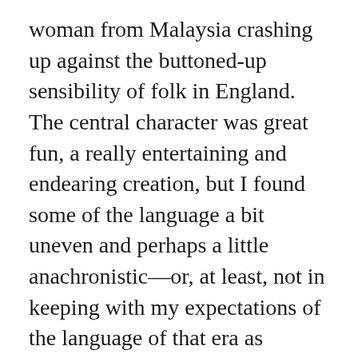woman from Malaysia crashing up against the buttoned-up sensibility of folk in England. The central character was great fun, a really entertaining and endearing creation, but I found some of the language a bit uneven and perhaps a little anachronistic—or, at least, not in keeping with my expectations of the language of that era as someone who knows very little about it.
It's hard not to feel a bit fed up of politics at the moment, but I nonetheless picked up Isabel Hardman's Why We Get the Wrong Politicians. This was a sympathetic portrait of the work of MPs, arguing that they do a poor job of legislating partly because they spend so much